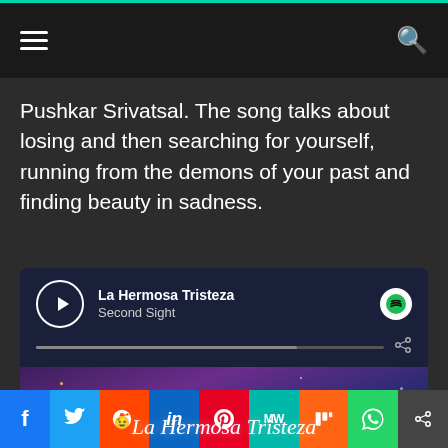Navigation bar with hamburger menu and search icon
Pushkar Srivatsal. The song talks about losing and then searching for yourself, running from the demons of your past and finding beauty in sadness.
[Figure (screenshot): Spotify embedded player showing 'La Hermosa Tristeza' by Second Sight with play button, progress bar, share icon, and album art with script text 'La Hermosa Tristeza' on a starry purple/blue background]
Social share buttons: Facebook, Twitter, Reddit, LinkedIn, Pinterest, MeWe, Mix, WhatsApp, Share